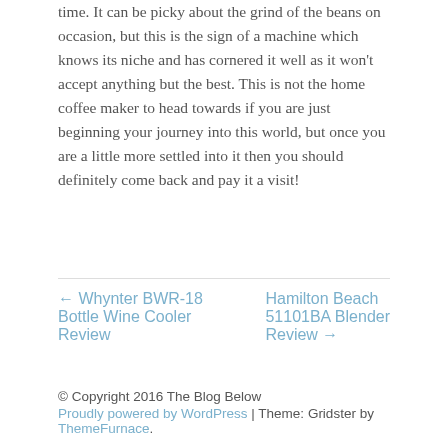time. It can be picky about the grind of the beans on occasion, but this is the sign of a machine which knows its niche and has cornered it well as it won't accept anything but the best. This is not the home coffee maker to head towards if you are just beginning your journey into this world, but once you are a little more settled into it then you should definitely come back and pay it a visit!
← Whynter BWR-18 Bottle Wine Cooler Review
Hamilton Beach 51101BA Blender Review →
© Copyright 2016 The Blog Below
Proudly powered by WordPress | Theme: Gridster by ThemeFurnace.